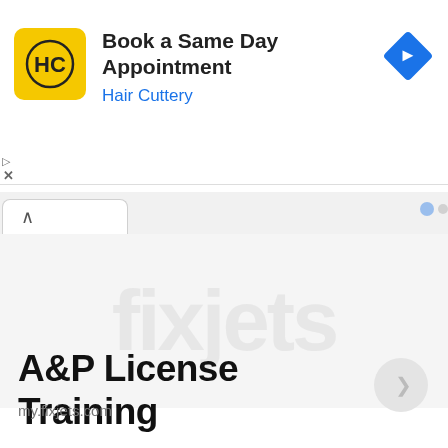[Figure (screenshot): Advertisement banner for Hair Cuttery showing 'Book a Same Day Appointment' with HC logo and blue navigation arrow icon]
Book a Same Day Appointment
Hair Cuttery
[Figure (screenshot): Browser interface with tab and watermarked background content area showing faint text]
A&P License Training
my.fixjets.com